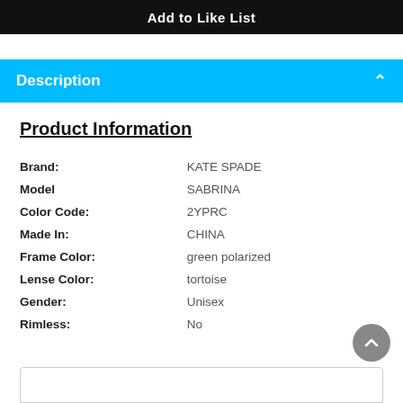Add to Like List
Description
Product Information
| Field | Value |
| --- | --- |
| Brand: | KATE SPADE |
| Model | SABRINA |
| Color Code: | 2YPRC |
| Made In: | CHINA |
| Frame Color: | green polarized |
| Lense Color: | tortoise |
| Gender: | Unisex |
| Rimless: | No |